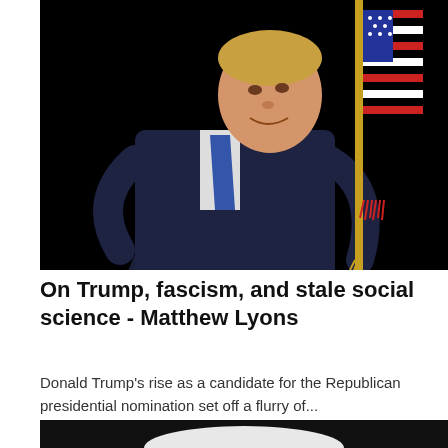[Figure (photo): A man in a dark suit embracing an American flag against a black background, smiling]
On Trump, fascism, and stale social science - Matthew Lyons
Donald Trump's rise as a candidate for the Republican presidential nomination set off a flurry of...
[Figure (photo): Partial view of a white object against a dark background, bottom of page]